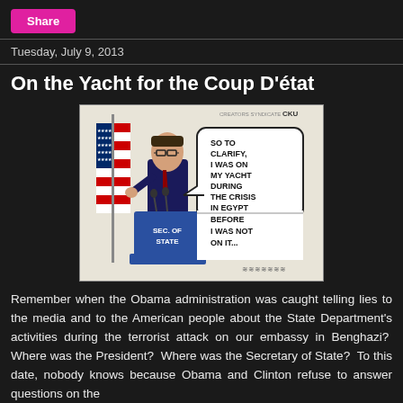Share
Tuesday, July 9, 2013
On the Yacht for the Coup D'état
[Figure (illustration): Political cartoon showing a figure at a SEC. OF STATE podium with a speech bubble saying 'SO TO CLARIFY, I WAS ON MY YACHT DURING THE CRISIS IN EGYPT BEFORE I WAS NOT ON IT...' with an American flag in the background. Creator Syndicate CKU watermark.]
Remember when the Obama administration was caught telling lies to the media and to the American people about the State Department's activities during the terrorist attack on our embassy in Benghazi?  Where was the President?  Where was the Secretary of State?  To this date, nobody knows because Obama and Clinton refuse to answer questions on the